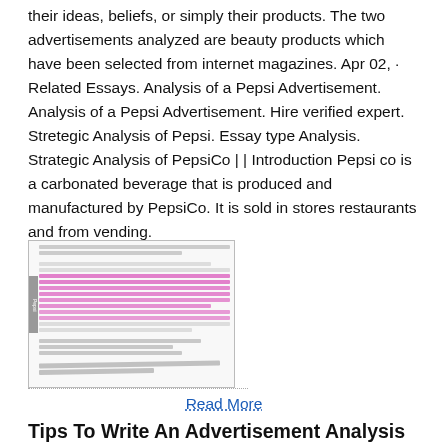their ideas, beliefs, or simply their products. The two advertisements analyzed are beauty products which have been selected from internet magazines. Apr 02,  · Related Essays. Analysis of a Pepsi Advertisement. Analysis of a Pepsi Advertisement. Hire verified expert. Stretegic Analysis of Pepsi. Essay type Analysis. Strategic Analysis of PepsiCo | | Introduction Pepsi co is a carbonated beverage that is produced and manufactured by PepsiCo. It is sold in stores restaurants and from vending.
[Figure (photo): A scanned document page with multiple lines of text highlighted in pink/magenta marker, with a tab label on the left side and handwritten-style annotation at the bottom.]
Read More
Tips To Write An Advertisement Analysis